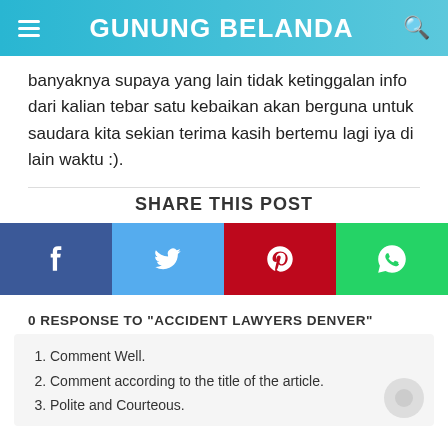GUNUNG BELANDA
banyaknya supaya yang lain tidak ketinggalan info dari kalian tebar satu kebaikan akan berguna untuk saudara kita sekian terima kasih bertemu lagi iya di lain waktu :).
SHARE THIS POST
[Figure (infographic): Social share buttons: Facebook (dark blue), Twitter (light blue), Pinterest (red), WhatsApp (green)]
0 RESPONSE TO "ACCIDENT LAWYERS DENVER"
Comment Well.
Comment according to the title of the article.
Polite and Courteous.